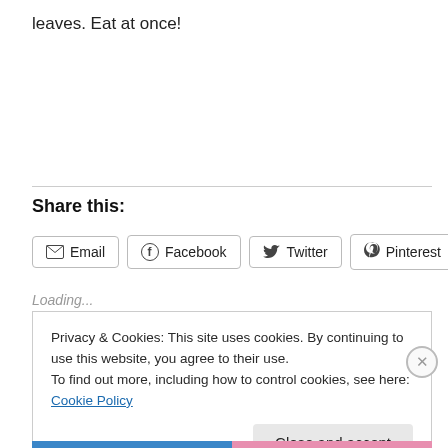leaves. Eat at once!
Share this:
[Figure (screenshot): Share buttons: Email, Facebook, Twitter, Pinterest with badge count 1]
Loading...
Privacy & Cookies: This site uses cookies. By continuing to use this website, you agree to their use.
To find out more, including how to control cookies, see here: Cookie Policy
Close and accept